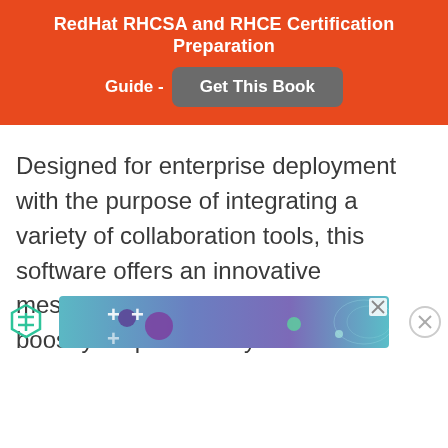RedHat RHCSA and RHCE Certification Preparation Guide - Get This Book
Designed for enterprise deployment with the purpose of integrating a variety of collaboration tools, this software offers an innovative messaging experience that helps boost your productivity.
[Figure (other): Advertisement banner with gradient teal/blue/purple background with decorative plus signs and circles, with an X close button in the top right corner. A Feather/filter icon is visible to the left and a close circle to the right.]